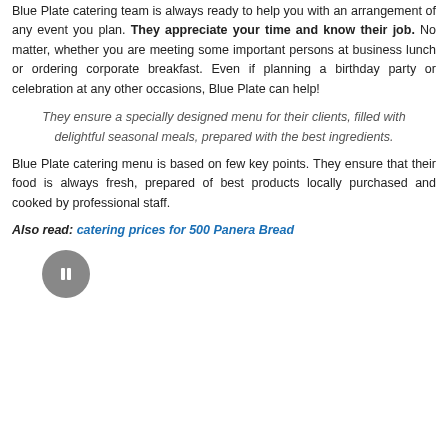Blue Plate catering team is always ready to help you with an arrangement of any event you plan. They appreciate your time and know their job. No matter, whether you are meeting some important persons at business lunch or ordering corporate breakfast. Even if planning a birthday party or celebration at any other occasions, Blue Plate can help!
They ensure a specially designed menu for their clients, filled with delightful seasonal meals, prepared with the best ingredients.
Blue Plate catering menu is based on few key points. They ensure that their food is always fresh, prepared of best products locally purchased and cooked by professional staff.
Also read: catering prices for 500 Panera Bread
[Figure (other): A dark gray circular button with a pause/rectangle icon in the center]